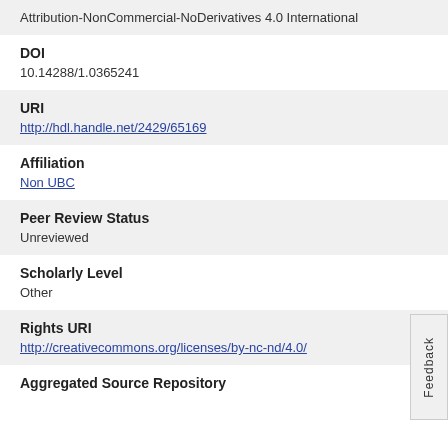Attribution-NonCommercial-NoDerivatives 4.0 International
DOI
10.14288/1.0365241
URI
http://hdl.handle.net/2429/65169
Affiliation
Non UBC
Peer Review Status
Unreviewed
Scholarly Level
Other
Rights URI
http://creativecommons.org/licenses/by-nc-nd/4.0/
Aggregated Source Repository